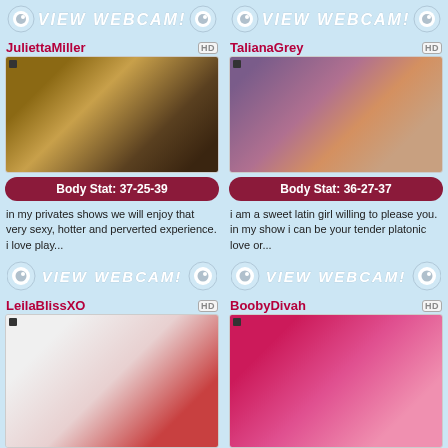[Figure (screenshot): VIEW WEBCAM! banner with eye/webcam icons, top left column]
JuliettaMiller
[Figure (photo): Webcam thumbnail for JuliettaMiller]
Body Stat: 37-25-39
in my privates shows we will enjoy that very sexy, hotter and perverted experience. i love play...
[Figure (screenshot): VIEW WEBCAM! banner bottom of JuliettaMiller card]
LeilaBlissXO
[Figure (photo): Webcam thumbnail for LeilaBlissXO]
[Figure (screenshot): VIEW WEBCAM! banner top right column]
TalianaGrey
[Figure (photo): Webcam thumbnail for TalianaGrey]
Body Stat: 36-27-37
i am a sweet latin girl willing to please you. in my show i can be your tender platonic love or...
[Figure (screenshot): VIEW WEBCAM! banner bottom of TalianaGrey card]
BoobyDivah
[Figure (photo): Webcam thumbnail for BoobyDivah]